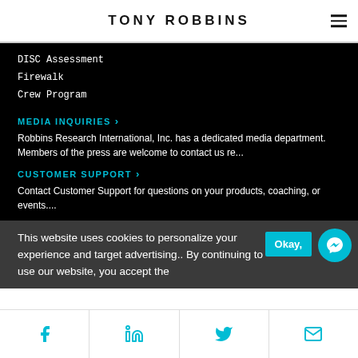TONY ROBBINS
DISC Assessment
Firewalk
Crew Program
MEDIA INQUIRIES
Robbins Research International, Inc. has a dedicated media department. Members of the press are welcome to contact us re...
CUSTOMER SUPPORT
Contact Customer Support for questions on your products, coaching, or events....
This website uses cookies to personalize your experience and target advertising.. By continuing to use our website, you accept the
Facebook | LinkedIn | Twitter | Email